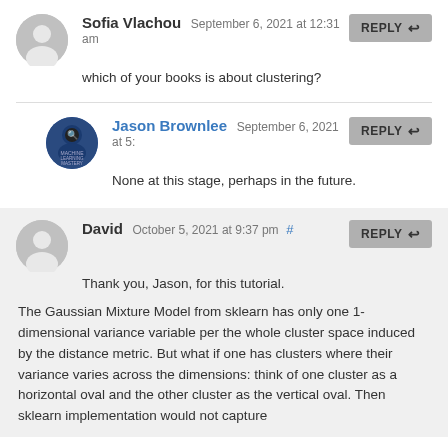Sofia Vlachou September 6, 2021 at 12:31 am
which of your books is about clustering?
Jason Brownlee September 6, 2021 at 5:
None at this stage, perhaps in the future.
David October 5, 2021 at 9:37 pm #
Thank you, Jason, for this tutorial.
The Gaussian Mixture Model from sklearn has only one 1-dimensional variance variable per the whole cluster space induced by the distance metric. But what if one has clusters where their variance varies across the dimensions: think of one cluster as a horizontal oval and the other cluster as the vertical oval. Then sklearn implementation would not capture